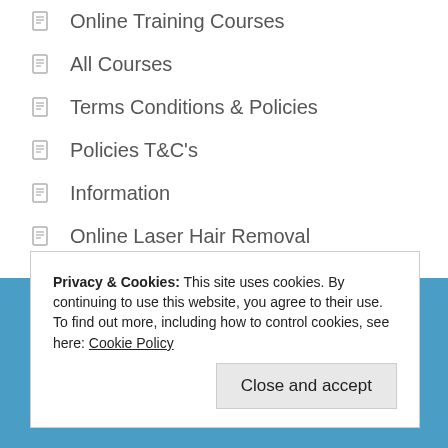Online Training Courses
All Courses
Terms Conditions & Policies
Policies T&C's
Information
Online Laser Hair Removal
Online Fibroblast Training Course
Online Fat Dissolving Training
Privacy & Cookies: This site uses cookies. By continuing to use this website, you agree to their use.
To find out more, including how to control cookies, see here: Cookie Policy
Close and accept